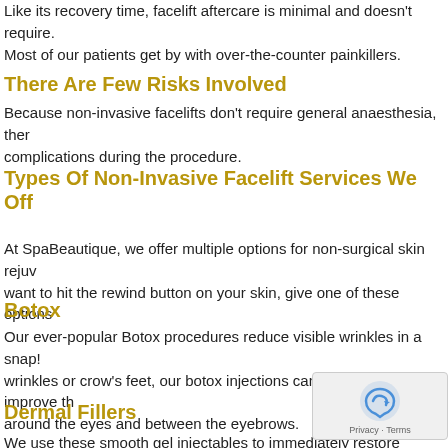Like its recovery time, facelift aftercare is minimal and doesn't require. Most of our patients get by with over-the-counter painkillers.
There Are Few Risks Involved
Because non-invasive facelifts don't require general anaesthesia, ther complications during the procedure.
Types Of Non-Invasive Facelift Services We Off
At SpaBeautique, we offer multiple options for non-surgical skin rejuv want to hit the rewind button on your skin, give one of these options
Botox
Our ever-popular Botox procedures reduce visible wrinkles in a snap! wrinkles or crow's feet, our botox injections can drastically improve th around the eyes and between the eyebrows.
Dermal Fillers
We use these smooth gel injectables to immediately restore volume